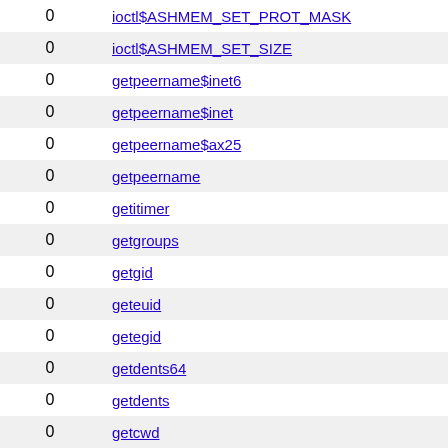| 0 | Name |
| --- | --- |
| 0 | ioctl$ASHMEM_SET_PROT_MASK |
| 0 | ioctl$ASHMEM_SET_SIZE |
| 0 | getpeername$inet6 |
| 0 | getpeername$inet |
| 0 | getpeername$ax25 |
| 0 | getpeername |
| 0 | getitimer |
| 0 | getgroups |
| 0 | getgid |
| 0 | geteuid |
| 0 | getegid |
| 0 | getdents64 |
| 0 | getdents |
| 0 | getcwd |
| 0 | get_thread_area |
| 0 | get_robust_list |
| 0 | get_mempolicy |
| 0 | futimesat |
| 0 | futex |
| 0 | fspick |
| 0 | fxxxx |